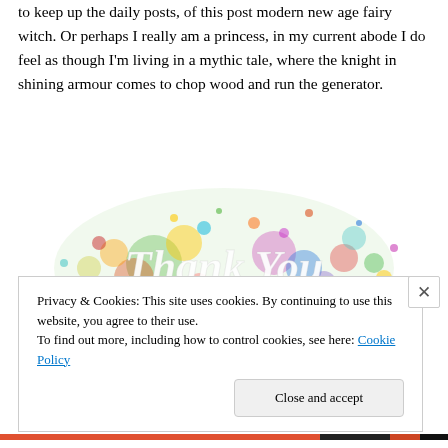to keep up the daily posts, of this post modern new age fairy witch. Or perhaps I really am a princess, in my current abode I do feel as though I'm living in a mythic tale, where the knight in shining armour comes to chop wood and run the generator.
[Figure (illustration): Colorful powder splash with 'Thank You' text written in white italic letters over it]
Privacy & Cookies: This site uses cookies. By continuing to use this website, you agree to their use.
To find out more, including how to control cookies, see here: Cookie Policy